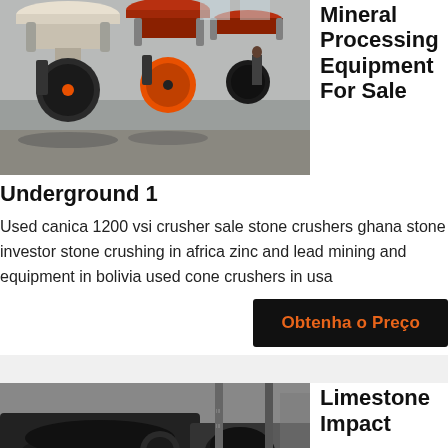[Figure (photo): Industrial mineral processing machines (cone crushers) lined up in a factory/warehouse setting. Multiple large machines visible, a person standing in background.]
Mineral Processing Equipment For Sale
Underground 1
Used canica 1200 vsi crusher sale stone crushers ghana stone investor stone crushing in africa zinc and lead mining and equipment in bolivia used cone crushers in usa
Obtenha o Preço
[Figure (photo): Industrial limestone impact crusher equipment in a factory/warehouse setting, dark machinery visible.]
Limestone Impact